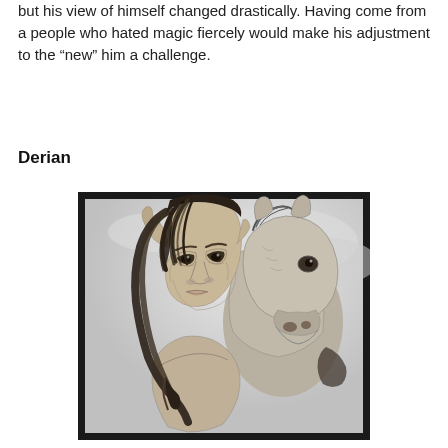but his view of himself changed drastically. Having come from a people who hated magic fiercely would make his adjustment to the “new” him a challenge.
Derian
[Figure (illustration): A pencil-drawn illustration in black and white showing a figure with pointed ears and long dark hair in the foreground, with a horse's head close behind/beside them. The style is detailed graphite artwork.]